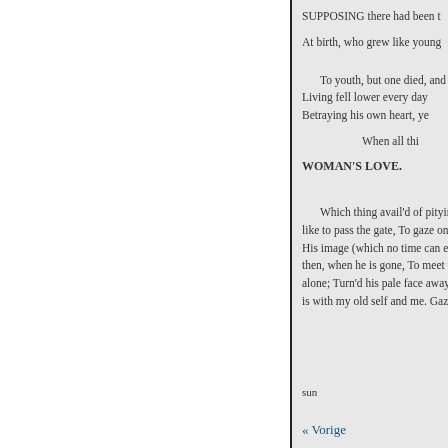SUPPOSING there had been t
At birth, who grew like young
To youth, but one died, and
Living fell lower every day
Betraying his own heart, ye
When all thi
WOMAN'S LOVE.
Which thing avail'd of pitying
like to pass the gate, To gaze on
His image (which no time can e'
then, when he is gone, To meet t
alone; Turn'd his pale face away
is with my old self and me. Gazi
sun
« Vorige